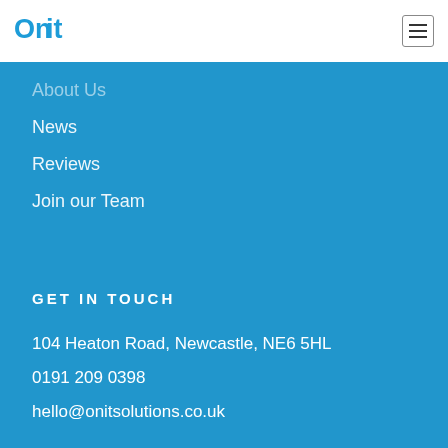[Figure (logo): Onit logo in blue text]
About Us
News
Reviews
Join our Team
GET IN TOUCH
104 Heaton Road, Newcastle, NE6 5HL
0191 209 0398
hello@onitsolutions.co.uk